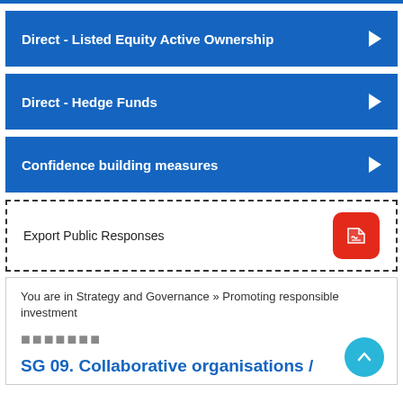Direct - Listed Equity Active Ownership
Direct - Hedge Funds
Confidence building measures
Export Public Responses
You are in Strategy and Governance » Promoting responsible investment
SG 09. Collaborative organisations /